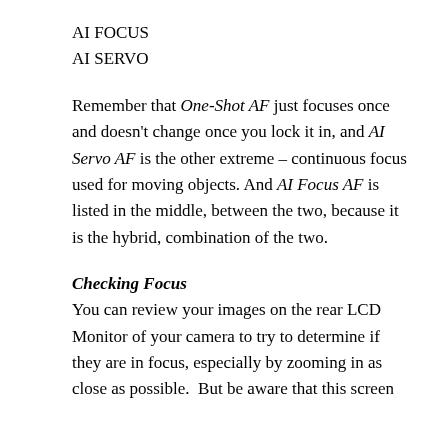AI FOCUS
AI SERVO
Remember that One-Shot AF just focuses once and doesn't change once you lock it in, and AI Servo AF is the other extreme – continuous focus used for moving objects. And AI Focus AF is listed in the middle, between the two, because it is the hybrid, combination of the two.
Checking Focus
You can review your images on the rear LCD Monitor of your camera to try to determine if they are in focus, especially by zooming in as close as possible.  But be aware that this screen